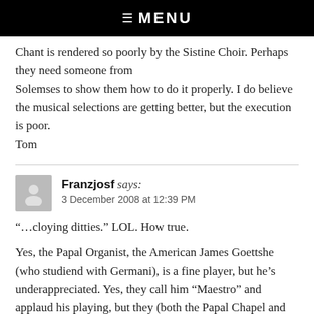☰ MENU
Chant is rendered so poorly by the Sistine Choir. Perhaps they need someone from Solemses to show them how to do it properly. I do believe the musical selections are getting better, but the execution is poor. Tom
Franzjosf says:
3 December 2008 at 12:39 PM
“…cloying ditties.” LOL. How true.
Yes, the Papal Organist, the American James Goettshe (who studiend with Germani), is a fine player, but he’s underappreciated. Yes, they call him “Maestro” and applaud his playing, but they (both the Papal Chapel and the Chapter) rarely, if ever, seek his advice on musical and practical matters.